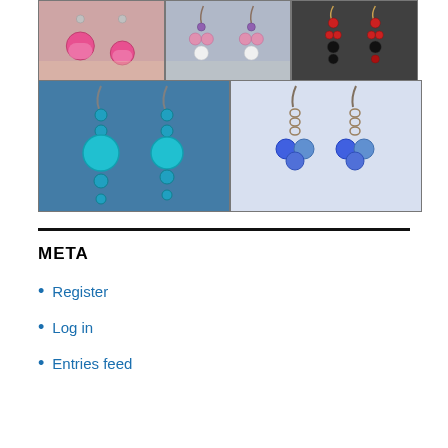[Figure (photo): Grid of 5 photos showing handmade earrings: top row has 3 smaller photos (pink floral bead earrings, blue/pink beaded charm earrings, red/black bead earrings), bottom row has 2 larger photos (turquoise bead earrings on blue background, blue bead earrings on white background)]
META
Register
Log in
Entries feed